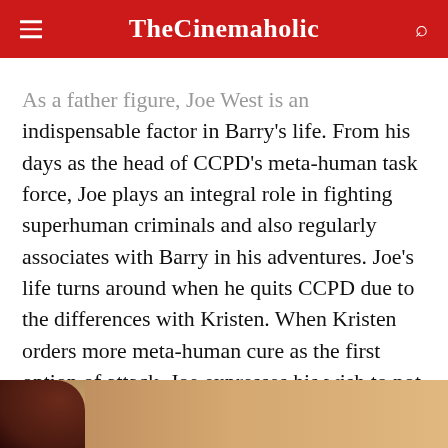TheCinemaholic
As a father figure, Joe West is an indispensable factor in Barry's life. From his days as the head of CCPD's meta-human task force, Joe plays an integral role in fighting superhuman criminals and also regularly associates with Barry in his adventures. Joe's life turns around when he quits CCPD due to the differences with Kristen. When Kristen orders more meta-human cure as the first option of attack, Joe expresses his wish to not take part in her plans and quit the force in season 7.
[Figure (photo): Bottom portion of a photo showing a person, partially visible at the bottom of the page]